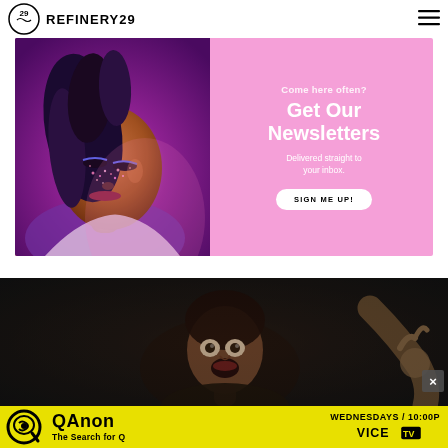REFINERY29
[Figure (illustration): Refinery29 newsletter signup banner with a woman with colorful makeup under purple/pink lighting on the left, and on the right text reading 'Come here often? Get Our Newsletters Delivered straight to your inbox.' with a 'SIGN ME UP!' button on a pink background.]
[Figure (screenshot): Dark video still showing a person with an open mouth in a dramatic scene, with a close/X button overlay.]
[Figure (illustration): QAnon: The Search for Q advertisement banner on yellow background with VICE TV logo, showing 'WEDNESDAYS / 10:00P']